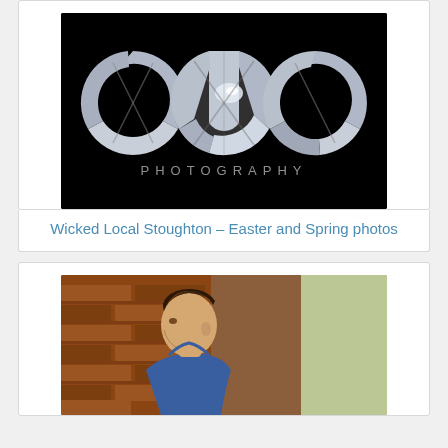[Figure (logo): CJS Photography logo — stylized letter forms made from camera aperture blade shapes in silver/white on a black background, with 'PHOTOGRAPHY' in spaced sans-serif letters below]
Wicked Local Stoughton – Easter and Spring photos
[Figure (photo): A young man in profile view leaning against a red brick wall, wearing a blue shirt, with blurred outdoor background]